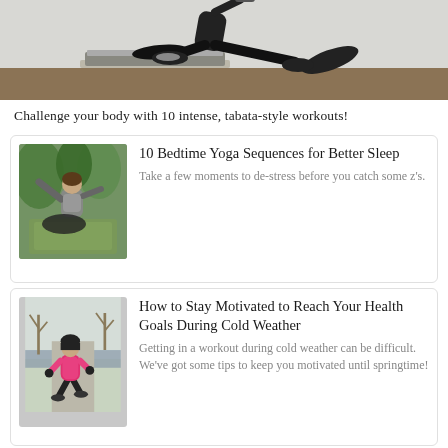[Figure (photo): Person doing a lunge exercise on a step platform holding dumbbells, wearing black athletic wear and sneakers, gym setting with light grey wall and wooden floor.]
Challenge your body with 10 intense, tabata-style workouts!
[Figure (photo): Woman doing a yoga side stretch pose outdoors, seated with plants/greenery in background, wearing grey crop top and black leggings on a yoga mat.]
10 Bedtime Yoga Sequences for Better Sleep
Take a few moments to de-stress before you catch some z's.
[Figure (photo): Person in pink jacket and black pants running outdoors in cold/winter setting, on a path with bare trees and water in background.]
How to Stay Motivated to Reach Your Health Goals During Cold Weather
Getting in a workout during cold weather can be difficult. We've got some tips to keep you motivated until springtime!